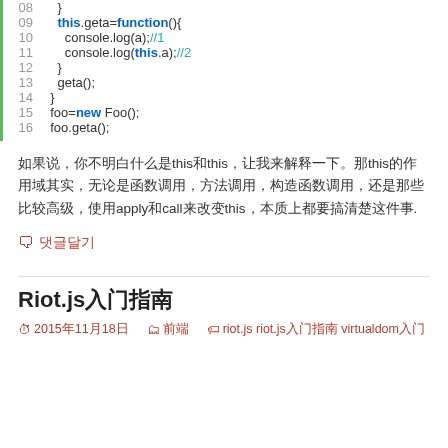[Figure (screenshot): Code block showing JavaScript lines 07-16 with syntax highlighting, green left border, line numbers in gray]
如果说，你不明白什么是this和this，让我来解释一下。this的作用域其实，无论是函数调用，方法调用，构造函数调用，还是那些比较高级，使用apply和call来改变this，本质上都要搞清楚这件事.
댓글달기
Riot.js入门指南
2015년11월18일  분류  riot.js riot.js入门指南 virtualdom入门